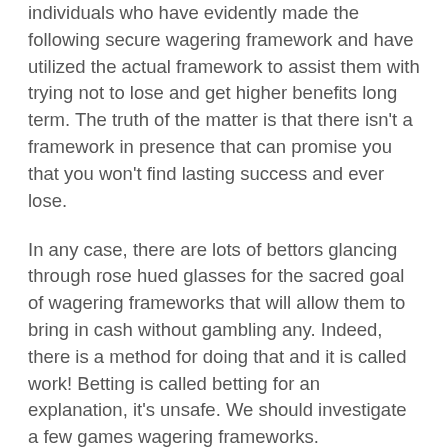individuals who have evidently made the following secure wagering framework and have utilized the actual framework to assist them with trying not to lose and get higher benefits long term. The truth of the matter is that there isn't a framework in presence that can promise you that you won't find lasting success and ever lose.
In any case, there are lots of bettors glancing through rose hued glasses for the sacred goal of wagering frameworks that will allow them to bring in cash without gambling any. Indeed, there is a method for doing that and it is called work! Betting is called betting for an explanation, it's unsafe. We should investigate a few games wagering frameworks.
The Parlay System is one of the most renowned of wagering frameworks that are usually utilized in horse racing. Many have said that in opposition to different